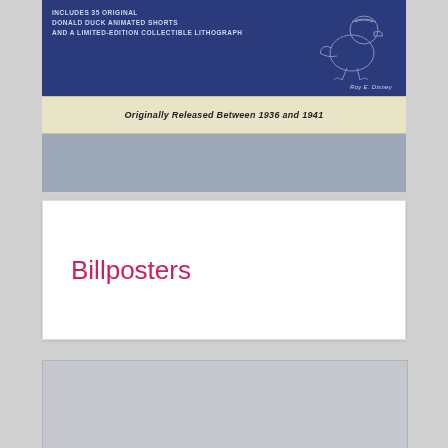[Figure (illustration): Top portion of a Donald Duck DVD/VHS box set cover. Blue banner with text 'INCLUDES 35 ORIGINAL DONALD DUCK ANIMATED SHORTS AND A LIMITED-EDITION COLLECTIBLE LITHOGRAPH' on the left, and a sketch/line art of Donald Duck on the right with 'Roy E. Disney' signature below. Below the blue section is a cream-colored banner reading 'Originally Released Between 1936 and 1941' in italic bold text. Below that is a gray strip.]
Billposters
[Figure (illustration): A light gray placeholder rectangle, likely representing a movie/poster image area.]